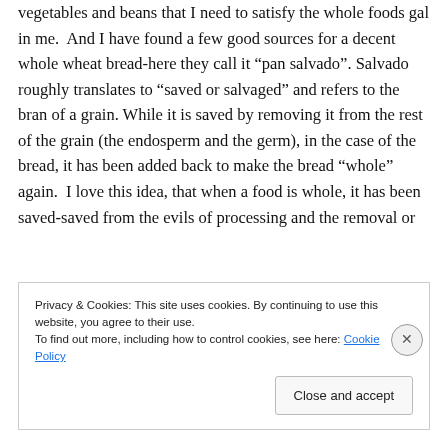vegetables and beans that I need to satisfy the whole foods gal in me.  And I have found a few good sources for a decent whole wheat bread-here they call it “pan salvado”. Salvado roughly translates to “saved or salvaged” and refers to the bran of a grain. While it is saved by removing it from the rest of the grain (the endosperm and the germ), in the case of the bread, it has been added back to make the bread “whole” again.  I love this idea, that when a food is whole, it has been saved-saved from the evils of processing and the removal or
Privacy & Cookies: This site uses cookies. By continuing to use this website, you agree to their use.
To find out more, including how to control cookies, see here: Cookie Policy